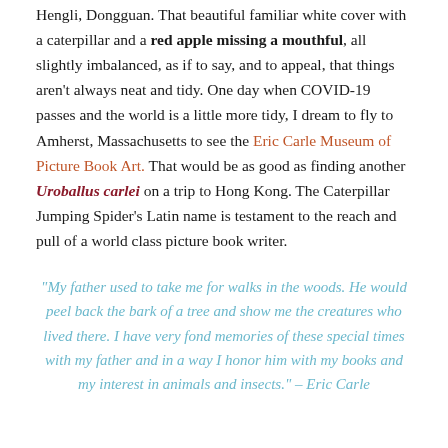Hengli, Dongguan. That beautiful familiar white cover with a caterpillar and a red apple missing a mouthful, all slightly imbalanced, as if to say, and to appeal, that things aren't always neat and tidy. One day when COVID-19 passes and the world is a little more tidy, I dream to fly to Amherst, Massachusetts to see the Eric Carle Museum of Picture Book Art. That would be as good as finding another Uroballus carlei on a trip to Hong Kong. The Caterpillar Jumping Spider's Latin name is testament to the reach and pull of a world class picture book writer.
"My father used to take me for walks in the woods. He would peel back the bark of a tree and show me the creatures who lived there. I have very fond memories of these special times with my father and in a way I honor him with my books and my interest in animals and insects." – Eric Carle